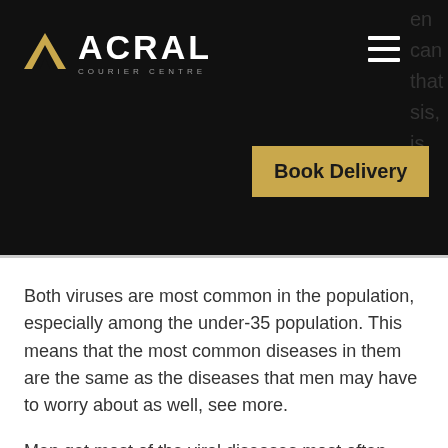ACRAL COURIER CENTRE
en can that sis, is
Book Delivery
Both viruses are most common in the population, especially among the under-35 population. This means that the most common diseases in them are the same as the diseases that men may have to worry about as well, see more.
Men get most of the viral diseases most often through sexual activity with someone who has a chronic illness. For example, Chlamydia is probably the most common STD in the US, causing more than 25,000 new diagnoses per year. If you're married and not using a condom, your risk of getting Chlamydia is around 1-1, steroids retinoids and wound healing 5 times the risk of